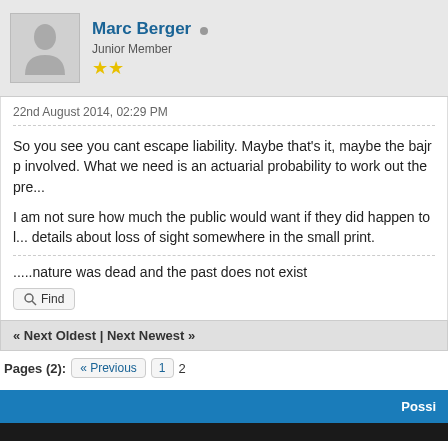Marc Berger
Junior Member
22nd August 2014, 02:29 PM
So you see you cant escape liability. Maybe that's it, maybe the bajr p... involved. What we need is an actuarial probability to work out the pre...
I am not sure how much the public would want if they did happen to l... details about loss of sight somewhere in the small print.
.....nature was dead and the past does not exist
Find
« Next Oldest | Next Newest »
Pages (2):  « Previous  1  2
Possi